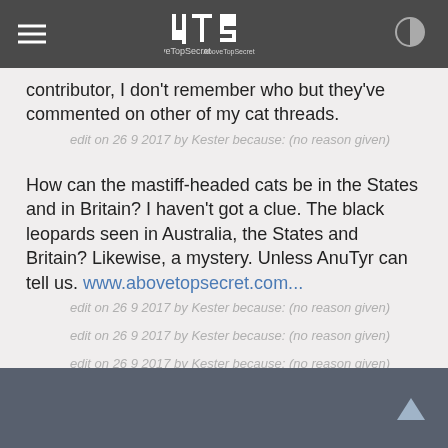4TS AboveTopSecret
contributor, I don't remember who but they've commented on other of my cat threads.
edit on 26 9 2017 by Kester because: (no reason given)
How can the mastiff-headed cats be in the States and in Britain? I haven't got a clue. The black leopards seen in Australia, the States and Britain? Likewise, a mystery. Unless AnuTyr can tell us. www.abovetopsecret.com...
edit on 26 9 2017 by Kester because: (no reason given)
edit on 26 9 2017 by Kester because: (no reason given)
edit on 26 9 2017 by Kester because: (no reason given)